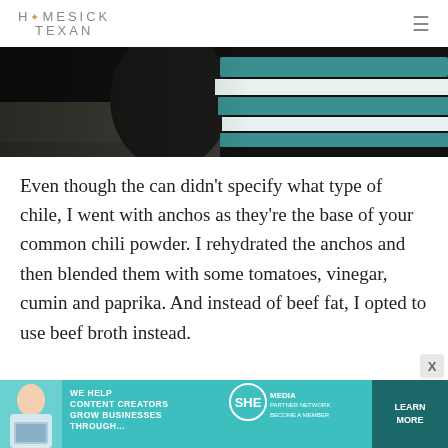HOMESICK TEXAN
[Figure (photo): Close-up photo of a bowl with teal and white stripes on a dark background, food styling shot]
Even though the can didn't specify what type of chile, I went with anchos as they're the base of your common chili powder. I rehydrated the anchos and then blended them with some tomatoes, vinegar, cumin and paprika. And instead of beef fat, I opted to use beef broth instead.
[Figure (infographic): SHE Media advertisement banner: 'We help content creators grow businesses through... SHE Partner Network — Become a member — Learn More']